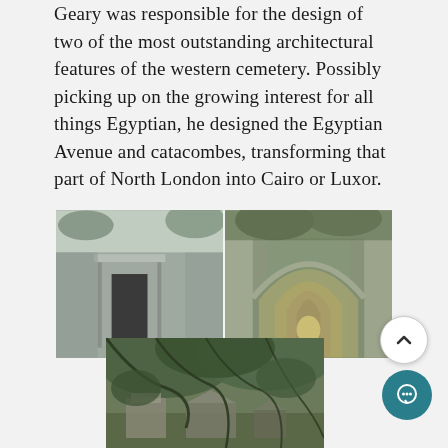Geary was responsible for the design of two of the most outstanding architectural features of the western cemetery. Possibly picking up on the growing interest for all things Egyptian, he designed the Egyptian Avenue and catacombes, transforming that part of North London into Cairo or Luxor.
[Figure (photo): Three photographs of Highgate Cemetery: top-left shows an Egyptian-style doorway entrance with stone surround; top-right shows a long arched tunnel/colonnade with trees visible at the end; bottom-center shows overgrown trees and vines covering stone tombs and structures.]